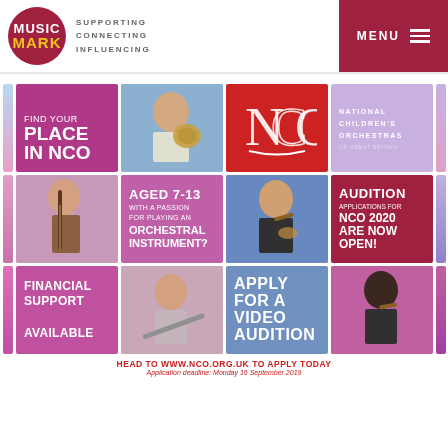[Figure (logo): Music Mark logo - circular red logo with MUSIC MARK text, with tagline SUPPORTING CONNECTING INFLUENCING]
[Figure (infographic): NCO (National Children's Orchestras) promotional advertisement grid with photos of young musicians and text panels including: FIND YOUR PLACE IN NCO, NCO logo, NATIONAL CHILDREN'S ORCHESTRAS OF GREAT BRITAIN, AGED 7-13 WITH A PASSION FOR PLAYING AN ORCHESTRAL INSTRUMENT?, AUDITION APPLICATIONS FOR NCO 2020 ARE NOW OPEN!, FINANCIAL SUPPORT AVAILABLE, APPLY FOR A VIDEO AUDITION]
HEAD TO WWW.NCO.ORG.UK TO APPLY TODAY
Application deadline: Monday 16 September 2019